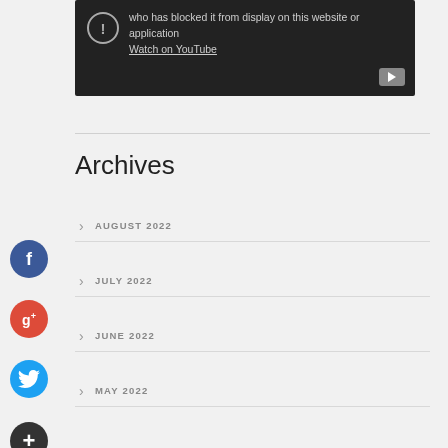[Figure (screenshot): YouTube video embed showing blocked video message with exclamation icon, text about blocked display, Watch on YouTube link, and YouTube play button]
Archives
AUGUST 2022
JULY 2022
JUNE 2022
MAY 2022